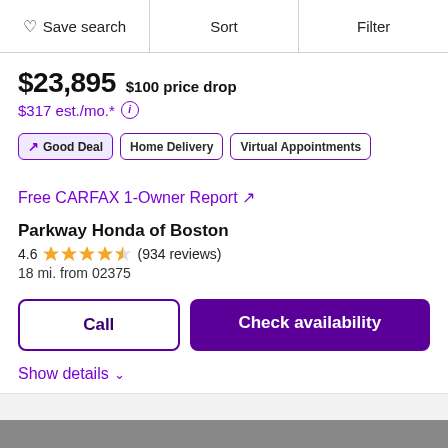Save search  Sort  Filter
$23,895  $100 price drop
$317 est./mo.*
Good Deal
Home Delivery
Virtual Appointments
Free CARFAX 1-Owner Report ↗
Parkway Honda of Boston
4.6 ★★★★½ (934 reviews)
18 mi. from 02375
Call   Check availability
Show details ∨